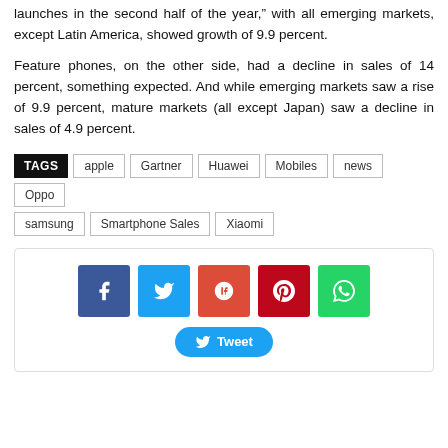launches in the second half of the year,” with all emerging markets, except Latin America, showed growth of 9.9 percent.
Feature phones, on the other side, had a decline in sales of 14 percent, something expected. And while emerging markets saw a rise of 9.9 percent, mature markets (all except Japan) saw a decline in sales of 4.9 percent.
TAGS: apple, Gartner, Huawei, Mobiles, news, Oppo, samsung, Smartphone Sales, Xiaomi
[Figure (infographic): Social share buttons: Facebook (blue), Twitter (light blue), Google+ (red-orange), Pinterest (dark red), WhatsApp (green), and a Tweet button]